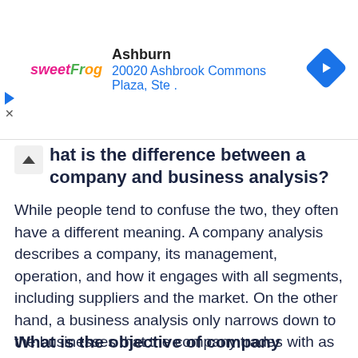[Figure (other): Advertisement banner for sweetFrog Ashburn location showing logo, business name, address '20020 Ashbrook Commons Plaza, Ste .', and a blue navigation arrow diamond icon.]
What is the difference between a company and business analysis?
While people tend to confuse the two, they often have a different meaning. A company analysis describes a company, its management, operation, and how it engages with all segments, including suppliers and the market. On the other hand, a business analysis only narrows down to the businesses that the company trades with as it performs its duties.
What is the objective of company